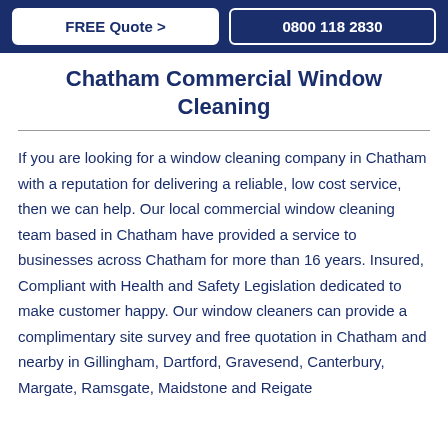FREE Quote >   0800 118 2830
Chatham Commercial Window Cleaning
If you are looking for a window cleaning company in Chatham with a reputation for delivering a reliable, low cost service, then we can help. Our local commercial window cleaning team based in Chatham have provided a service to businesses across Chatham for more than 16 years. Insured, Compliant with Health and Safety Legislation dedicated to make customer happy. Our window cleaners can provide a complimentary site survey and free quotation in Chatham and nearby in Gillingham, Dartford, Gravesend, Canterbury, Margate, Ramsgate, Maidstone and Reigate